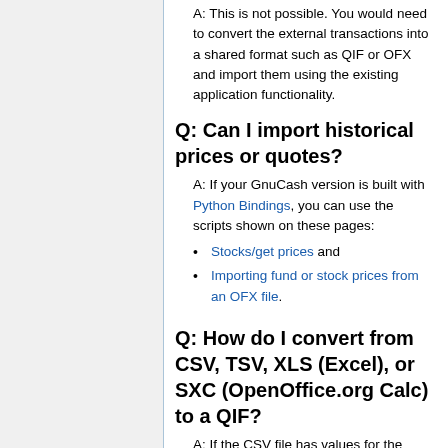A: This is not possible. You would need to convert the external transactions into a shared format such as QIF or OFX and import them using the existing application functionality.
Q: Can I import historical prices or quotes?
A: If your GnuCash version is built with Python Bindings, you can use the scripts shown on these pages:
Stocks/get prices and
Importing fund or stock prices from an OFX file.
Q: How do I convert from CSV, TSV, XLS (Excel), or SXC (OpenOffice.org Calc) to a QIF?
A: If the CSV file has values for the